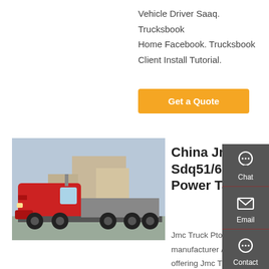Vehicle Driver Saaq. Trucksbook Home Facebook. Trucksbook Client Install Tutorial.
Get a Quote
[Figure (photo): Red semi-truck / tractor unit parked in a yard with buildings in the background]
China Jmc Truck Pto Sdq51/67 (Gearbox Power Take Off For
Jmc Truck Pto, Sdq51/67, Truck Pto manufacturer / supplier in China, offering Jmc Truck Pto Sdq51/67 (Gearbox Power Take off For ISUZU JMC Transmission